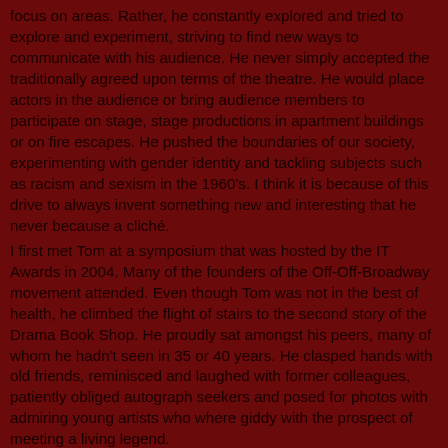focus on areas. Rather, he constantly explored and tried to explore and experiment, striving to find new ways to communicate with his audience. He never simply accepted the traditionally agreed upon terms of the theatre. He would place actors in the audience or bring audience members to participate on stage, stage productions in apartment buildings or on fire escapes. He pushed the boundaries of our society, experimenting with gender identity and tackling subjects such as racism and sexism in the 1960's. I think it is because of this drive to always invent something new and interesting that he never because a cliché.
I first met Tom at a symposium that was hosted by the IT Awards in 2004. Many of the founders of the Off-Off-Broadway movement attended. Even though Tom was not in the best of health, he climbed the flight of stairs to the second story of the Drama Book Shop. He proudly sat amongst his peers, many of whom he hadn't seen in 35 or 40 years. He clasped hands with old friends, reminisced and laughed with former colleagues, patiently obliged autograph seekers and posed for photos with admiring young artists who where giddy with the prospect of meeting a living legend.
In 2005, the IT Awards held our Tom a symposium in...